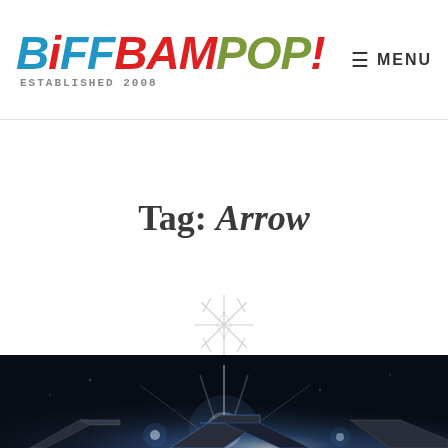BiffBamPop! ESTABLISHED 2008 — MENU
Tag: Arrow
[Figure (illustration): Decorative sparkle/star symbol below the tag title]
[Figure (photo): Dark cinematic image with bright light flares and metallic shapes at the bottom, appears to be promotional art from a TV show or movie]